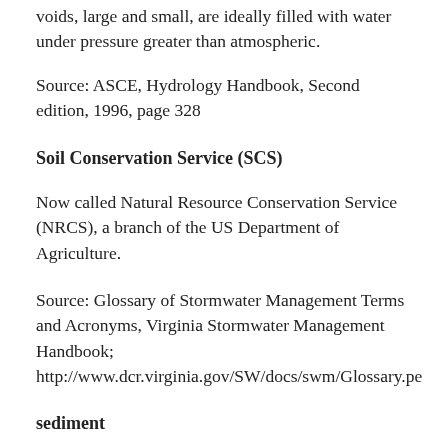voids, large and small, are ideally filled with water under pressure greater than atmospheric.
Source: ASCE, Hydrology Handbook, Second edition, 1996, page 328
Soil Conservation Service (SCS)
Now called Natural Resource Conservation Service (NRCS), a branch of the US Department of Agriculture.
Source: Glossary of Stormwater Management Terms and Acronyms, Virginia Stormwater Management Handbook; http://www.dcr.virginia.gov/SW/docs/swm/Glossary.pe
sediment